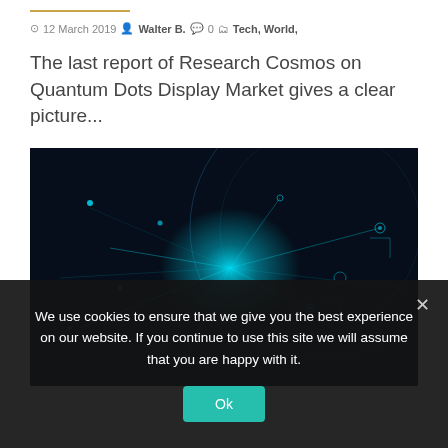12 March 2019  Walter B.  0  Tech, World,
The last report of Research Cosmos on Quantum Dots Display Market gives a clear picture...
[Figure (illustration): Abstract glowing blue quantum dots and circuit lines against a dark background, suggesting technology and connectivity]
We use cookies to ensure that we give you the best experience on our website. If you continue to use this site we will assume that you are happy with it.